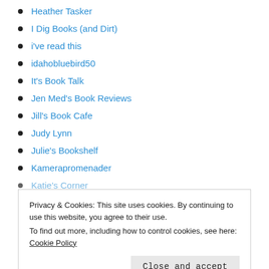Heather Tasker
I Dig Books (and Dirt)
i've read this
idahobluebird50
It's Book Talk
Jen Med's Book Reviews
Jill's Book Cafe
Judy Lynn
Julie's Bookshelf
Kamerapromenader
Katie's Corner
Privacy & Cookies: This site uses cookies. By continuing to use this website, you agree to their use.
To find out more, including how to control cookies, see here: Cookie Policy
Lit Wit Wine Dine